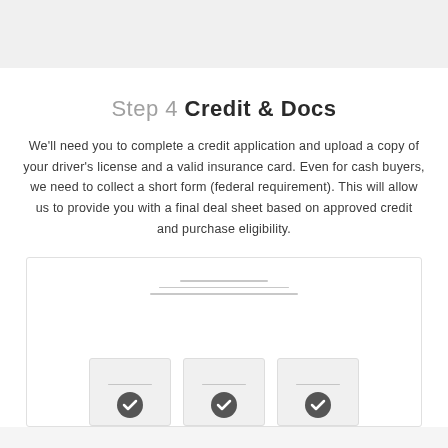Step 4 Credit & Docs
We'll need you to complete a credit application and upload a copy of your driver's license and a valid insurance card. Even for cash buyers, we need to collect a short form (federal requirement). This will allow us to provide you with a final deal sheet based on approved credit and purchase eligibility.
[Figure (screenshot): A UI screenshot showing a form with horizontal lines and three document card thumbnails at the bottom, each with a checkmark icon.]